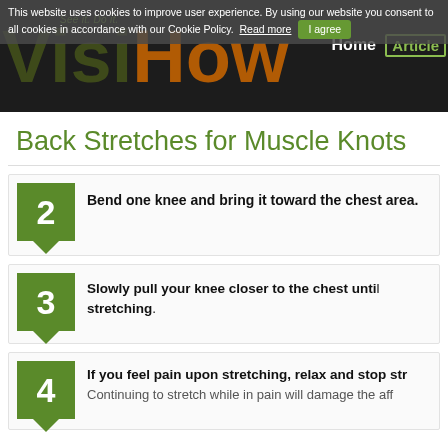VisiHow — See it. Do it. | Home | Articles
This website uses cookies to improve user experience. By using our website you consent to all cookies in accordance with our Cookie Policy. Read more | I agree
Back Stretches for Muscle Knots
2 Bend one knee and bring it toward the chest area.
3 Slowly pull your knee closer to the chest until stretching.
4 If you feel pain upon stretching, relax and stop str... Continuing to stretch while in pain will damage the aff...